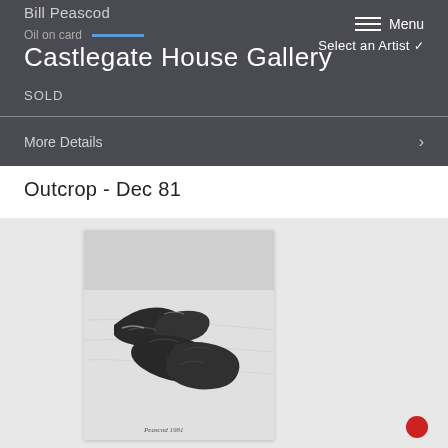Bill Peascod
Oil on card
Castlegate House Gallery
SOLD
Menu
Select an Artist
More Details
Outcrop - Dec 81
[Figure (photo): Oil painting of a dark rocky outcrop on a snowy hillside, signed 'Peascod 1981' in the lower right corner. The painting shows dark rock forms cutting diagonally across a pale grey-white snowy landscape.]